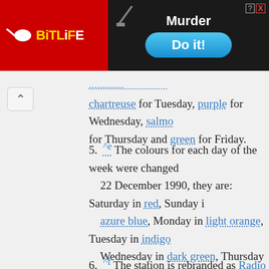[Figure (screenshot): BitLife app advertisement banner with red background on the left showing BitLife logo, and dark right section with 'Murder' text and 'Do it!' blue button]
chartreuse for Tuesday, purple for Wednesday, salmon for Thursday and green for Friday.
^e The colours for each day of the week were changed 22 December 1990, they are: Saturday in red, Sunday in azure blue, Monday in light orange, Tuesday in indigo, Wednesday in dark green, Thursday in cerise, and Friday in medium turquoise. On 30 October 2004, the day's colours were slightly changed once again that included Tuesday in lavender, Wednesday in mint green, and Friday in navy blue.
^f The station is rebranded as Radio 5 Live on 28 Marc